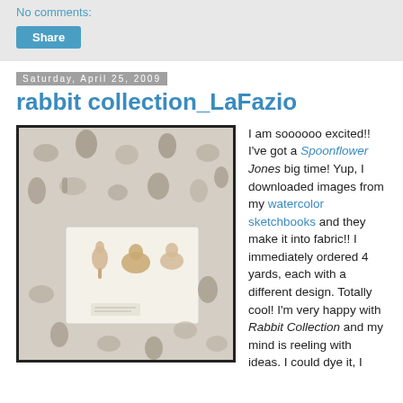No comments:
Share
Saturday, April 25, 2009
rabbit collection_LaFazio
[Figure (photo): Fabric printed with watercolor rabbit illustrations, with a sketchbook page laid on top showing pencil/watercolor rabbit drawings]
I am soooooo excited!! I've got a Spoonflower Jones big time! Yup, I downloaded images from my watercolor sketchbooks and they make it into fabric!! I immediately ordered 4 yards, each with a different design. Totally cool! I'm very happy with Rabbit Collection and my mind is reeling with ideas. I could dye it, I